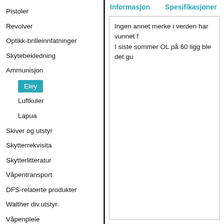Pistoler
Revolver
Optikk-brilleinnfatninger
Skytebekledning
Ammunisjon
Eley
Luftkuler
Lapua
Skiver og utstyr
Skytterrekvisita
Skytterlitteratur
Våpentransport
DFS-relaterte produkter
Walther div.utstyr.
Våpenpleie
Skytesimulator
Måleintrument
Instruksjon og foredrag
Informasjon
Spesifikasjoner
Ingen annet merke i verden har vunnet f
I siste sommer OL på 60 ligg ble det gu